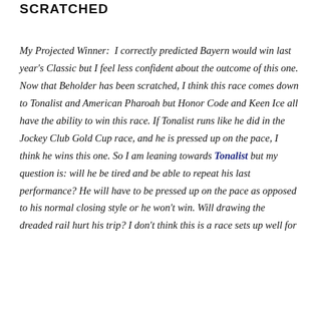SCRATCHED
My Projected Winner: I correctly predicted Bayern would win last year's Classic but I feel less confident about the outcome of this one. Now that Beholder has been scratched, I think this race comes down to Tonalist and American Pharoah but Honor Code and Keen Ice all have the ability to win this race. If Tonalist runs like he did in the Jockey Club Gold Cup race, and he is pressed up on the pace, I think he wins this one. So I am leaning towards Tonalist but my question is: will he be tired and be able to repeat his last performance? He will have to be pressed up on the pace as opposed to his normal closing style or he won't win. Will drawing the dreaded rail hurt his trip? I don't think this is a race sets up well for